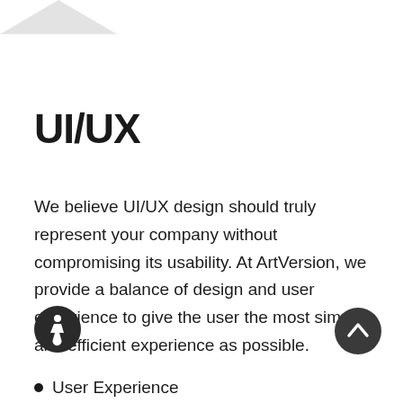[Figure (logo): Partial logo shape — gray mountain/triangle silhouette at top left corner]
UI/UX
We believe UI/UX design should truly represent your company without compromising its usability. At ArtVersion, we provide a balance of design and user experience to give the user the most simple and efficient experience as possible.
[Figure (illustration): Accessibility icon — circular dark badge with wheelchair user symbol]
[Figure (illustration): Dark circular button with upward chevron arrow — scroll to top button]
User Experience